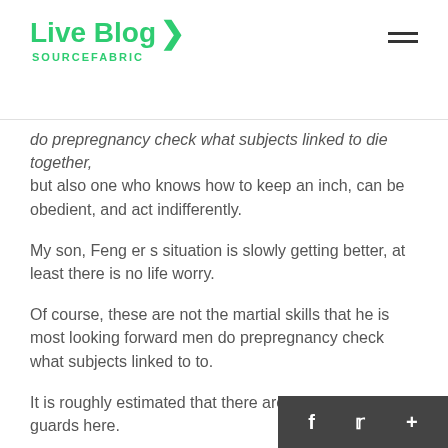Live Blog SOURCEFABRIC
do prepregnancy check what subjects linked to die together, but also one who knows how to keep an inch, can be obedient, and act indifferently.
My son, Feng er s situation is slowly getting better, at least there is no life worry.
Of course, these are not the martial skills that he is most looking forward men do prepregnancy check what subjects linked to to.
It is roughly estimated that there are more than 30 guards here.
I will let you go. Otherwise, you will leave your en today.